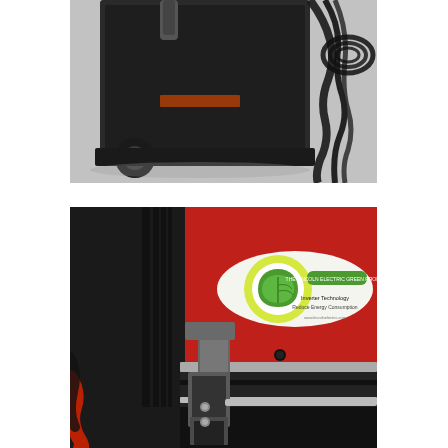[Figure (photo): Photo of a black welding machine or industrial equipment on a concrete floor, with black cables/wires visible on the right side. The machine has wheels and appears to be a welder on a cart.]
[Figure (photo): Close-up photo of a red Lincoln Electric welding machine with a green leaf logo/sticker on the front panel. In the foreground are metal brackets/holders mounted to the machine frame, along with red and black welding cables.]